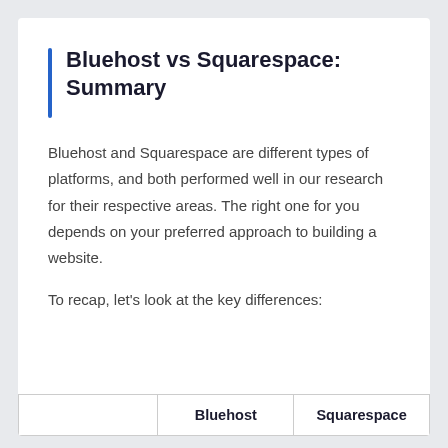Bluehost vs Squarespace: Summary
Bluehost and Squarespace are different types of platforms, and both performed well in our research for their respective areas. The right one for you depends on your preferred approach to building a website.
To recap, let's look at the key differences:
|  | Bluehost | Squarespace |
| --- | --- | --- |